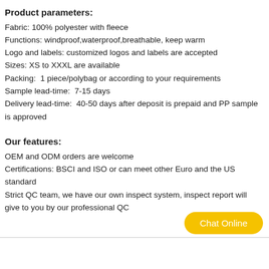Product parameters:
Fabric: 100% polyester with fleece
Functions: windproof,waterproof,breathable, keep warm
Logo and labels: customized logos and labels are accepted
Sizes: XS to XXXL are available
Packing:  1 piece/polybag or according to your requirements
Sample lead-time:  7-15 days
Delivery lead-time:  40-50 days after deposit is prepaid and PP sample is approved
Our features:
OEM and ODM orders are welcome
Certifications: BSCI and ISO or can meet other Euro and the US standard
Strict QC team, we have our own inspect system, inspect report will give to you by our professional QC
Chat Online